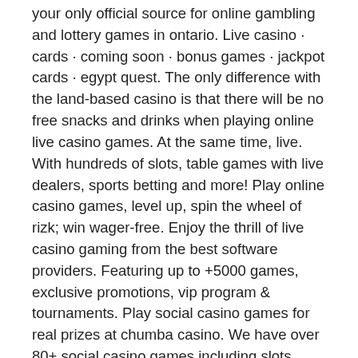your only official source for online gambling and lottery games in ontario. Live casino · cards · coming soon · bonus games · jackpot cards · egypt quest. The only difference with the land-based casino is that there will be no free snacks and drinks when playing online live casino games. At the same time, live. With hundreds of slots, table games with live dealers, sports betting and more! Play online casino games, level up, spin the wheel of rizk; win wager-free. Enjoy the thrill of live casino gaming from the best software providers. Featuring up to +5000 games, exclusive promotions, vip program &amp; tournaments. Play social casino games for real prizes at chumba casino. We have over 80+ social casino games including slots, blackjack and roulette games. Best online casinos guide with free casino slots: play slot machines for free. Online slots with bonus &amp; game reviews: 2600+ no download, free-play games. Come and play the most